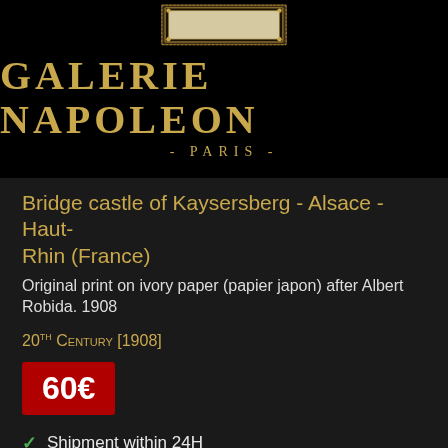[Figure (logo): Galerie Napoleon Paris logo with ornate frame on black background, gold text reading GALERIE NAPOLEON and - PARIS -]
Bridge castle of Kaysersberg - Alsace - Haut-Rhin (France)
Original print on ivory paper (papier japon) after Albert Robida. 1908
20TH CENTURY [1908]
60€
Shipment within 24H
Certificate of authenticity
Passepartout included
Secured packaging